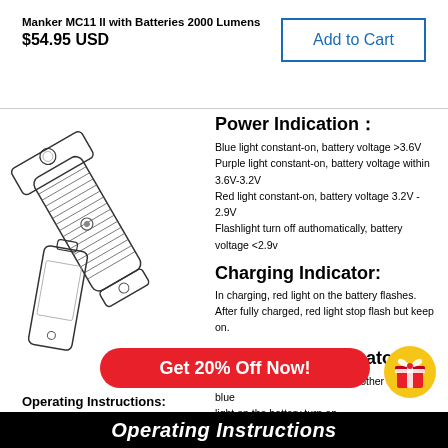Manker MC11 II with Batteries 2000 Lumens
$54.95 USD
Add to Cart
[Figure (illustration): Engineering/product illustration of the Manker MC11 II flashlight showing the flashlight body, head, and a battery beside it, all drawn in black and white line art style.]
Power Indication:
Blue light constant-on, battery voltage >3.6V
Purple light constant-on, battery voltage within 3.6V-3.2V
Red light constant-on, battery voltage 3.2V - 2.9V
Flashlight turn off authomatically, battery voltage <2.9v
Charging Indicator:
In charging, red light on the battery flashes.
After fully charged, red light stop flash but keep on.
Discharging Indicator:
Work as power bank to charge other device, blue light on the battery turn on.
After the power has run out, blue light will turn off.
Get 20% Off Now!
Operating Instructions:
Operating Instructions